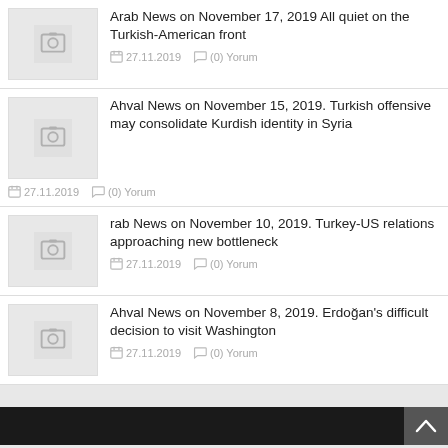Arab News on November 17, 2019 All quiet on the Turkish-American front
27.11.2019  (0) Yorum
Ahval News on November 15, 2019. Turkish offensive may consolidate Kurdish identity in Syria
27.11.2019  (0) Yorum
rab News on November 10, 2019. Turkey-US relations approaching new bottleneck
27.11.2019  (0) Yorum
Ahval News on November 8, 2019. Erdoğan's difficult decision to visit Washington
27.11.2019  (0) Yorum